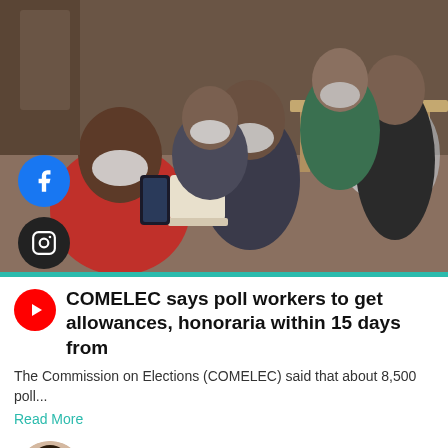[Figure (photo): A group of people wearing face masks seated and standing inside a room, appearing to be poll workers or election officials at a processing/registration event.]
COMELEC says poll workers to get allowances, honoraria within 15 days from
The Commission on Elections (COMELEC) said that about 8,500 poll...
Read More
Aira Genesa Magdayao
May 14, 2022